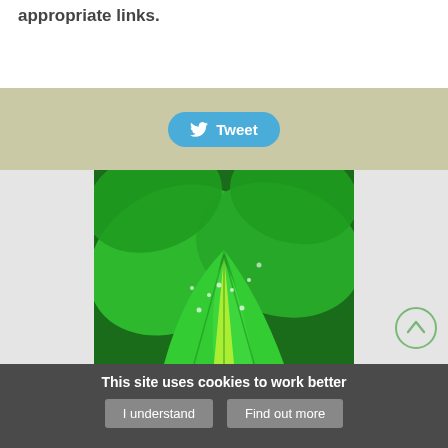appropriate links.
[Figure (other): Tweet button with Twitter bird icon on blue rounded pill background]
[Figure (photo): Close-up photograph of bright green leaves with water droplets, vivid green color with yellow-green highlights]
[Figure (other): Scroll-to-top circular arrow button, light green outline]
This site uses cookies to work better
I understand
Find out more